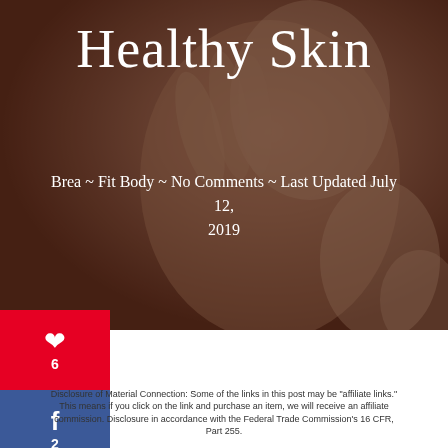[Figure (photo): Background hero image of a person with healthy skin, overlaid with dark brownish-red tint. Woman touching face shown in soft focus.]
Healthy Skin
Brea ~ Fit Body ~ No Comments ~ Last Updated July 12, 2019
[Figure (infographic): Social media sharing sidebar buttons: Pinterest (6 shares), Facebook (2 shares), Twitter]
Disclosure of Material Connection: Some of the links in this post may be "affiliate links." This means if you click on the link and purchase an item, we will receive an affiliate commission. Disclosure in accordance with the Federal Trade Commission's 16 CFR, Part 255.